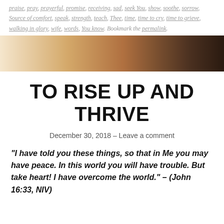praise, pray, prayerful, promise, receiving, sad, seek You, show, soothe, sorrow, Source of comfort, speak, strength, teach, Thee, time, time to cry, time to grieve, walking in glory, wife, words, You know. Bookmark the permalink.
[Figure (photo): A horizontal banner image with a warm golden-bronze gradient fading to dark brown on the right, suggesting a scenic or abstract background.]
TO RISE UP AND THRIVE
December 30, 2018 — Leave a comment
“I have told you these things, so that in Me you may have peace. In this world you will have trouble. But take heart! I have overcome the world.” – (John 16:33, NIV)